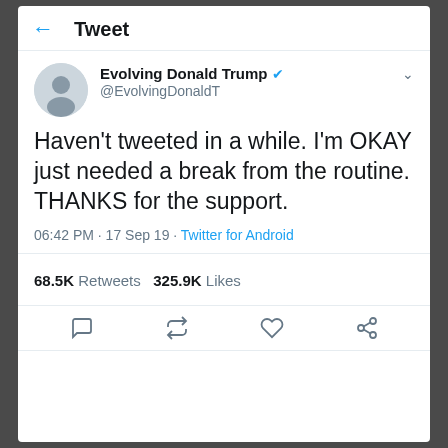Tweet
Evolving Donald Trump @EvolvingDonaldT
Haven't tweeted in a while. I'm OKAY just needed a break from the routine. THANKS for the support.
06:42 PM · 17 Sep 19 · Twitter for Android
68.5K Retweets   325.9K Likes